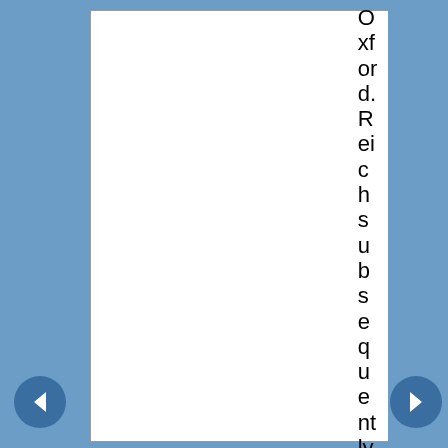Oxford. Reichsubsequently ear
[Figure (other): Left navigation arrow button (blue circle with left-pointing arrow)]
[Figure (other): Right navigation arrow button (blue circle with right-pointing arrow)]